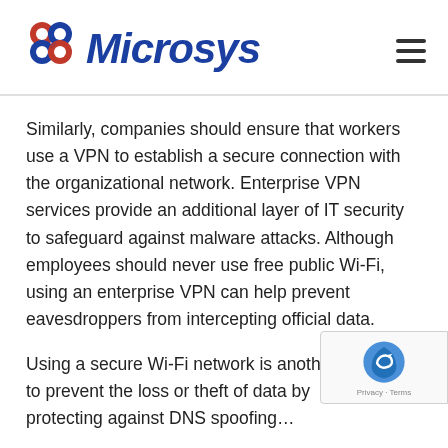Microsys
Similarly, companies should ensure that workers use a VPN to establish a secure connection with the organizational network. Enterprise VPN services provide an additional layer of IT security to safeguard against malware attacks. Although employees should never use free public Wi-Fi, using an enterprise VPN can help prevent eavesdroppers from intercepting official data.
Using a secure Wi-Fi network is another vital… to prevent the loss or theft of data by protecting against DNS spoofing…